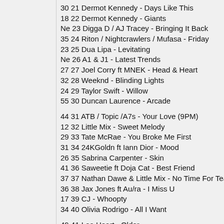30 21 Dermot Kennedy - Days Like This
18 22 Dermot Kennedy - Giants
Ne 23 Digga D / AJ Tracey - Bringing It Back
35 24 Riton / Nightcrawlers / Mufasa - Friday
23 25 Dua Lipa - Levitating
Ne 26 A1 & J1 - Latest Trends
27 27 Joel Corry ft MNEK - Head & Heart
32 28 Weeknd - Blinding Lights
24 29 Taylor Swift - Willow
55 30 Duncan Laurence - Arcade
44 31 ATB / Topic /A7s - Your Love (9PM)
12 32 Little Mix - Sweet Melody
29 33 Tate McRae - You Broke Me First
31 34 24KGoldn ft Iann Dior - Mood
26 35 Sabrina Carpenter - Skin
41 36 Saweetie ft Doja Cat - Best Friend
37 37 Nathan Dawe & Little Mix - No Time For Tears
36 38 Jax Jones ft Au/ra - I Miss U
17 39 CJ - Whoopty
34 40 Olivia Rodrigo - All I Want
49 41 Lea Heart - Older